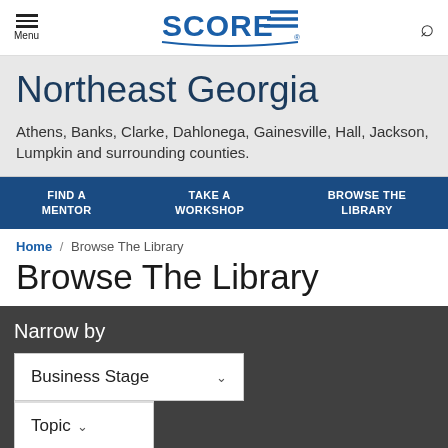Menu | SCORE | Search
Northeast Georgia
Athens, Banks, Clarke, Dahlonega, Gainesville, Hall, Jackson, Lumpkin and surrounding counties.
FIND A MENTOR | TAKE A WORKSHOP | BROWSE THE LIBRARY
Home / Browse The Library
Browse The Library
Narrow by
Business Stage
Topic